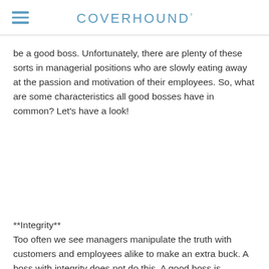COVERHOUND°
be a good boss. Unfortunately, there are plenty of these sorts in managerial positions who are slowly eating away at the passion and motivation of their employees. So, what are some characteristics all good bosses have in common? Let's have a look!
**Integrity**
Too often we see managers manipulate the truth with customers and employees alike to make an extra buck. A boss with integrity does not do this. A good boss is transparent about the business's financial and ethical positions with clients and customers and maintains a line of open communication. This type of boss lets their staff know when